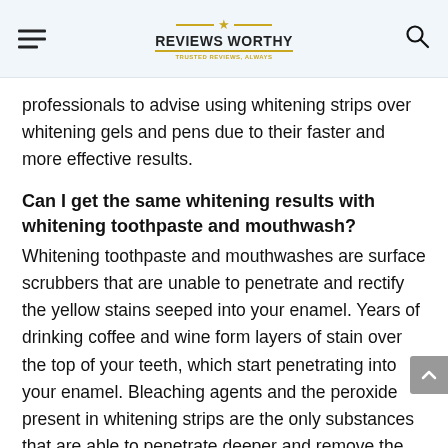Reviews Worthy — Trusted Reviews, Always
professionals to advise using whitening strips over whitening gels and pens due to their faster and more effective results.
Can I get the same whitening results with whitening toothpaste and mouthwash?
Whitening toothpaste and mouthwashes are surface scrubbers that are unable to penetrate and rectify the yellow stains seeped into your enamel. Years of drinking coffee and wine form layers of stain over the top of your teeth, which start penetrating into your enamel. Bleaching agents and the peroxide present in whitening strips are the only substances that are able to penetrate deeper and remove the